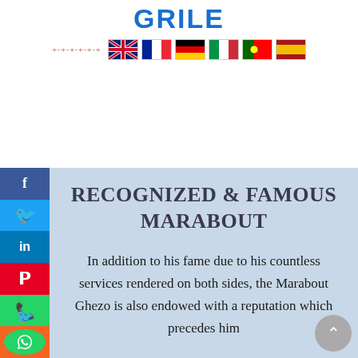GRILE
[Figure (other): Row of country flag icons: UK, France, Germany, Italy, Portugal, Spain, with decorative plus signs]
RECOGNIZED & FAMOUS MARABOUT
In addition to his fame due to his countless services rendered on both sides, the Marabout Ghezo is also endowed with a reputation which precedes him